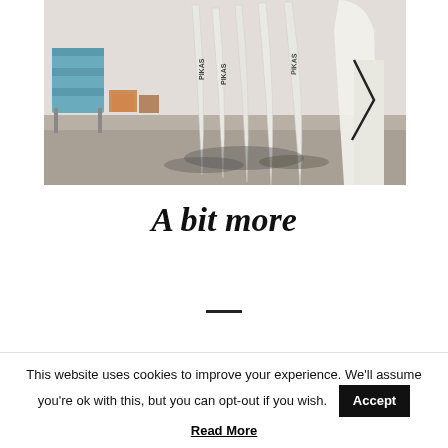[Figure (photo): Interior of a surfboard shaping workshop. Multiple white surfboards with 'PIKAS' branding stand vertically leaning against a wall. A blue storage rack and miscellaneous boxes are visible in the background. The floor is dusty/sandy. A person in white clothing is partially visible on the right.]
A bit more
This website uses cookies to improve your experience. We'll assume you're ok with this, but you can opt-out if you wish.
Read More